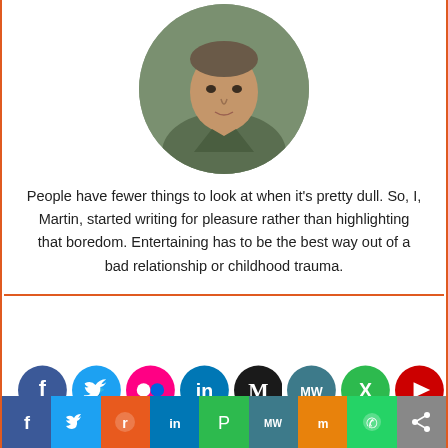[Figure (photo): Circular cropped portrait photo of a man (Martin) with short hair, wearing a green jacket, looking directly at camera against a blurred outdoor background.]
People have fewer things to look at when it's pretty dull. So, I, Martin, started writing for pleasure rather than highlighting that boredom. Entertaining has to be the best way out of a bad relationship or childhood trauma.
[Figure (infographic): Row of 8 social media icon circles: Facebook (blue), Twitter (light blue), Flickr (pink), LinkedIn (dark blue), Medium (black), MixedWays (teal), Xing (green), YouTube (red).]
SUBSCRIBE TO GET 5% DISCOUNT ON YOUR NEXT CAM COIN PURCHASE
[Figure (infographic): Bottom share bar with icons for Facebook, Twitter, Reddit, LinkedIn, Pinterest, MixedWays, Mix, WhatsApp, Share.]